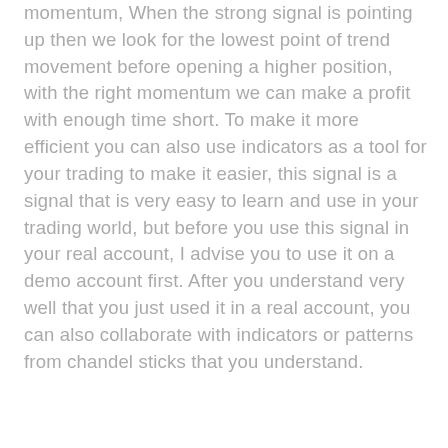momentum, When the strong signal is pointing up then we look for the lowest point of trend movement before opening a higher position, with the right momentum we can make a profit with enough time short. To make it more efficient you can also use indicators as a tool for your trading to make it easier, this signal is a signal that is very easy to learn and use in your trading world, but before you use this signal in your real account, I advise you to use it on a demo account first. After you understand very well that you just used it in a real account, you can also collaborate with indicators or patterns from chandel sticks that you understand.